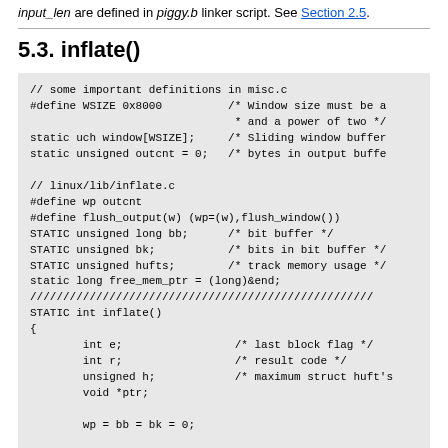input_len are defined in piggy.b linker script. See Section 2.5.
5.3. inflate()
[Figure (other): Code block showing C source code for inflate() function including definitions from misc.c, linux/lib/inflate.c, STATIC int inflate() function body with variable declarations and initialization.]